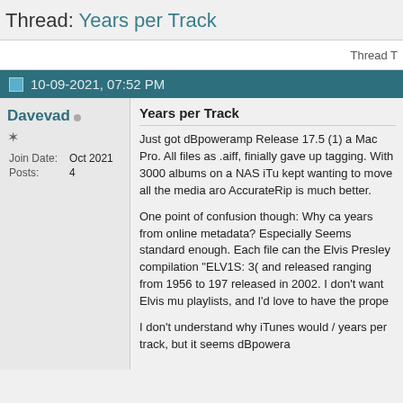Thread: Years per Track
Thread T
10-09-2021, 07:52 PM
Davevad
| Join Date: | Oct 2021 |
| Posts: | 4 |
Years per Track
Just got dBpoweramp Release 17.5 (1) a Mac Pro. All files as .aiff, finially gave up tagging. With 3000 albums on a NAS iTu kept wanting to move all the media aro AccurateRip is much better.
One point of confusion though: Why ca years from online metadata? Especially Seems standard enough. Each file can the Elvis Presley compilation "ELV1S: 3( and released ranging from 1956 to 197 released in 2002. I don't want Elvis mu playlists, and I'd love to have the prope
I don't understand why iTunes would / years per track, but it seems dBpowera